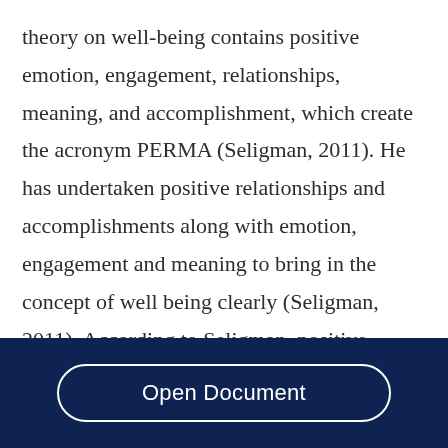theory on well-being contains positive emotion, engagement, relationships, meaning, and accomplishment, which create the acronym PERMA (Seligman, 2011). He has undertaken positive relationships and accomplishments along with emotion, engagement and meaning to bring in the concept of well being clearly (Seligman, 2011). According to Seligman, positive emotions are the hedonic feelings of happiness and the feeling of being joyful. Positive emotions foster and enhance
Open Document